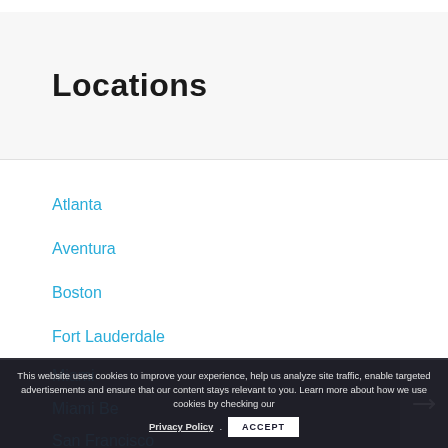Locations
Atlanta
Aventura
Boston
Fort Lauderdale
Miami
Miami Be...
San Francisco
This website uses cookies to improve your experience, help us analyze site traffic, enable targeted advertisements and ensure that our content stays relevant to you. Learn more about how we use cookies by checking our Privacy Policy.
ACCEPT